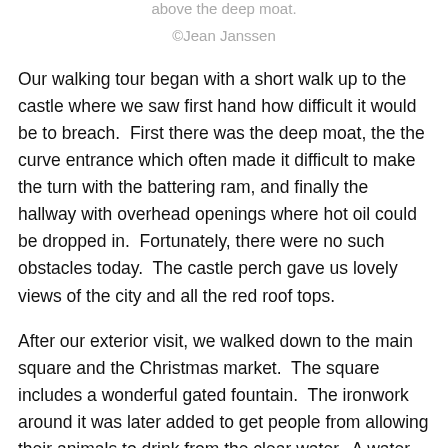above the deep moat.
©Jean Janssen
Our walking tour began with a short walk up to the castle where we saw first hand how difficult it would be to breach.  First there was the deep moat, the the curve entrance which often made it difficult to make the turn with the battering ram, and finally the hallway with overhead openings where hot oil could be dropped in.  Fortunately, there were no such obstacles today.  The castle perch gave us lovely views of the city and all the red roof tops.
After our exterior visit, we walked down to the main square and the Christmas market.  The square includes a wonderful gated fountain.  The ironwork around it was later added to get people from allowing their animals to drink from the clear water.  A water spout allowed access via bucket.  There is also a large brass ring on the dark